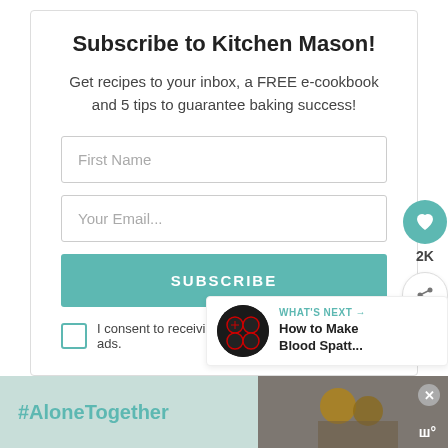Subscribe to Kitchen Mason!
Get recipes to your inbox, a FREE e-cookbook and 5 tips to guarantee baking success!
First Name
Your Email...
SUBSCRIBE
I consent to receiving emails and personalized ads.
2K
WHAT'S NEXT → How to Make Blood Spatt...
#AloneTogether